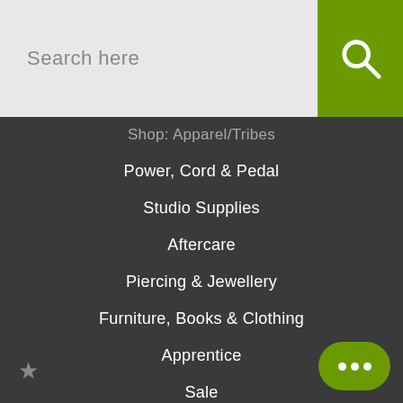Search here
Power, Cord & Pedal
Studio Supplies
Aftercare
Piercing & Jewellery
Furniture, Books & Clothing
Apprentice
Sale
Gift Cards
Important Stuff
About Us
Contact Us
Order Information